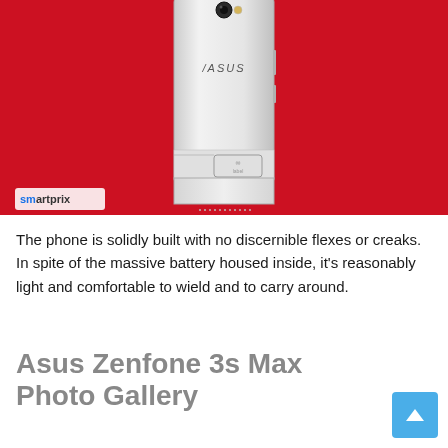[Figure (photo): Back of a white ASUS Zenfone 3s Max smartphone placed on a red background. The phone shows the rear camera, ASUS logo, and bottom panel. A Smartprix watermark logo is visible in the bottom-left corner of the image.]
The phone is solidly built with no discernible flexes or creaks. In spite of the massive battery housed inside, it's reasonably light and comfortable to wield and to carry around.
Asus Zenfone 3s Max Photo Gallery